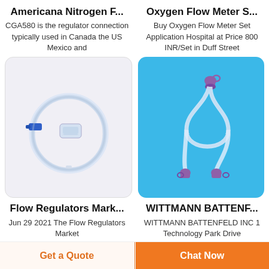Americana Nitrogen F...
CGA580 is the regulator connection typically used in Canada the US Mexico and
Oxygen Flow Meter S...
Buy Oxygen Flow Meter Set Application Hospital at Price 800 INR/Set in Duff Street
[Figure (photo): Medical flow regulator device — clear circular tubing with blue connector, on light lavender background]
[Figure (photo): Medical oxygen tubing set with purple connectors at both ends, on bright blue background]
Flow Regulators Mark...
Jun 29 2021  The Flow Regulators Market
WITTMANN BATTENF...
WITTMANN BATTENFELD INC 1 Technology Park Drive